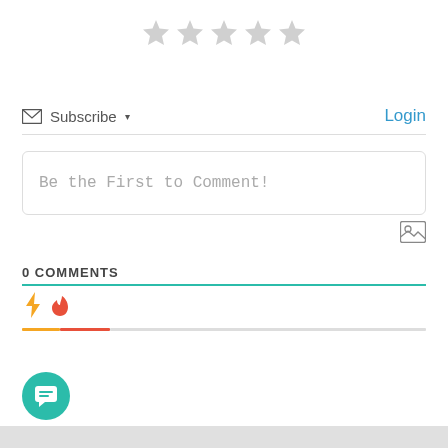[Figure (illustration): Five empty (unrated) gray star icons in a horizontal row]
Subscribe ▾
Login
Be the First to Comment!
[Figure (illustration): Image/photo icon button]
0 COMMENTS
[Figure (illustration): Lightning bolt icon tab (orange underline) and flame icon tab (red underline) with gray line extending to right]
[Figure (illustration): Teal circular chat bubble button in bottom left corner]